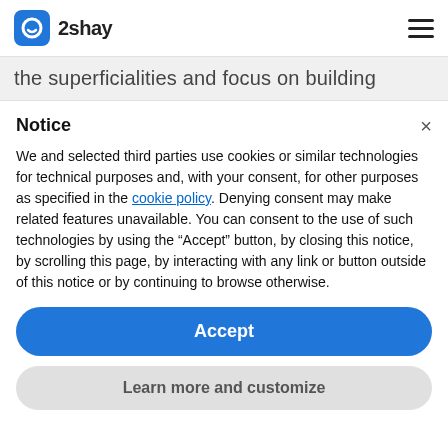2shay
the superficialities and focus on building
Notice
We and selected third parties use cookies or similar technologies for technical purposes and, with your consent, for other purposes as specified in the cookie policy. Denying consent may make related features unavailable. You can consent to the use of such technologies by using the "Accept" button, by closing this notice, by scrolling this page, by interacting with any link or button outside of this notice or by continuing to browse otherwise.
Accept
Learn more and customize